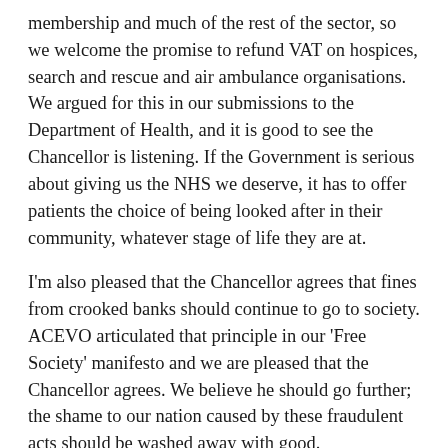membership and much of the rest of the sector, so we welcome the promise to refund VAT on hospices, search and rescue and air ambulance organisations. We argued for this in our submissions to the Department of Health, and it is good to see the Chancellor is listening. If the Government is serious about giving us the NHS we deserve, it has to offer patients the choice of being looked after in their community, whatever stage of life they are at.
I'm also pleased that the Chancellor agrees that fines from crooked banks should continue to go to society. ACEVO articulated that principle in our 'Free Society' manifesto and we are pleased that the Chancellor agrees. We believe he should go further; the shame to our nation caused by these fraudulent acts should be washed away with good.
Charities give so much to the high street each and every day. The Government needs to support the work they do to make our public spaces that much more giving and caring. Charity leaders must play a central part of this review. You can be sure I will be robust in making this case as this debate unfolds. We will not allow changes in business rates